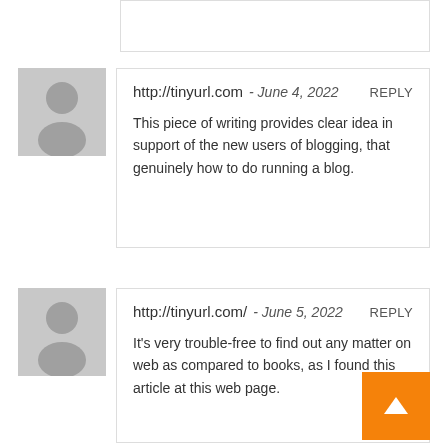http://tinyurl.com - June 4, 2022 REPLY
This piece of writing provides clear idea in support of the new users of blogging, that genuinely how to do running a blog.
http://tinyurl.com/ - June 5, 2022 REPLY
It's very trouble-free to find out any matter on web as compared to books, as I found this article at this web page.